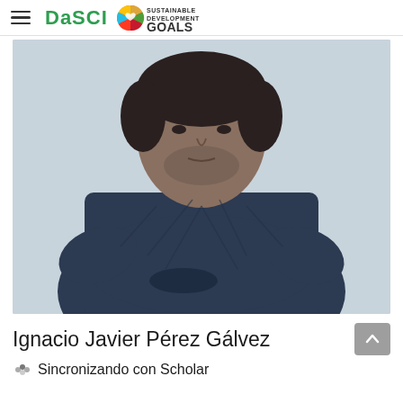DaSCI | SUSTAINABLE DEVELOPMENT GOALS
[Figure (photo): Portrait photo of a middle-aged man with short dark hair and beard stubble, wearing a dark navy blue patterned sweater with arms crossed, photographed against a light gray-blue background.]
Ignacio Javier Pérez Gálvez
Sincronizando con Scholar